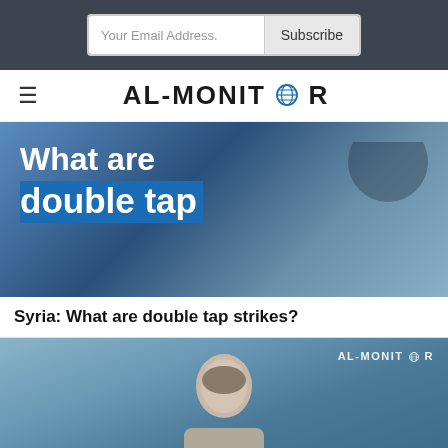Your Email Address. Subscribe
AL-MONITOR
[Figure (photo): Article thumbnail image with text overlay reading 'What are double tap' on a blue background with aerial photography]
Syria: What are double tap strikes?
[Figure (photo): AL-MONITOR branded photo of a man with grey hair against a blue background]